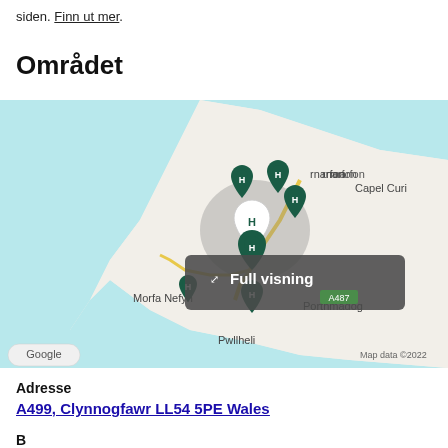siden. Finn ut mer.
Området
[Figure (map): Google Maps showing coastal area of Wales with multiple hotel/accommodation pins near Caernarfon, Morfa Nefyn, Pwllheli and Porthmadog. A tooltip overlay reads 'Full visning' with road label A487.]
Adresse
A499, Clynnogfawr LL54 5PE Wales